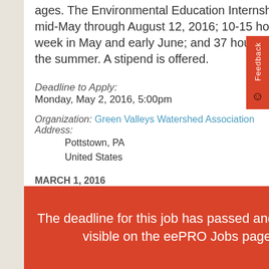ages. The Environmental Education Internship runs from mid-May through August 12, 2016; 10-15 hours per week in May and early June; and 37 hours per week for the summer. A stipend is offered.
Deadline to Apply: Monday, May 2, 2016, 5:00pm
Organization: Green Valleys Watershed Association
Address:
    Pottstown, PA
    United States
MARCH 1, 2016
[Figure (logo): Purple circle with white bird/hummingbird silhouette logo]
The deadline for this job has passed and it is not visible on the eePRO Jobs page.